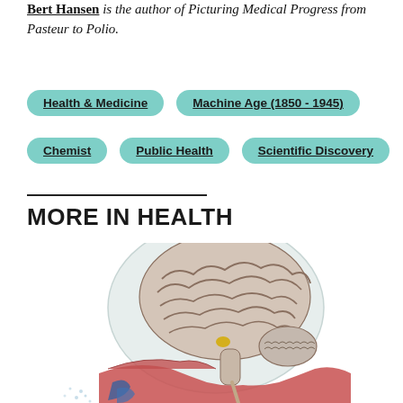Bert Hansen is the author of Picturing Medical Progress from Pasteur to Polio.
Health & Medicine
Machine Age (1850 - 1945)
Chemist
Public Health
Scientific Discovery
MORE IN HEALTH
[Figure (illustration): Medical illustration showing a cross-sectional sagittal view of a human head revealing the brain anatomy, with visible cerebral cortex folds, brainstem, and internal organs of the head and neck in anatomical colors (pink brain tissue, red muscles, blue vessels).]